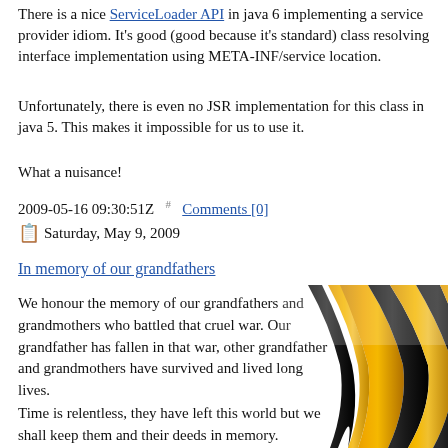There is a nice ServiceLoader API in java 6 implementing a service provider idiom. It's good (good because it's standard) class resolving interface implementation using META-INF/service location.
Unfortunately, there is even no JSR implementation for this class in java 5. This makes it impossible for us to use it.
What a nuisance!
2009-05-16 09:30:51Z  #  Comments [0]
Saturday, May 9, 2009
In memory of our grandfathers
We honour the memory of our grandfathers and grandmothers who battled that cruel war. Our grandfather has fallen in that war, other grandfather and grandmothers have survived and lived long lives.
Time is relentless, they have left this world but we shall keep them and their deeds in memory.
[Figure (photo): A St. George ribbon with black and orange stripes, curving diagonally]